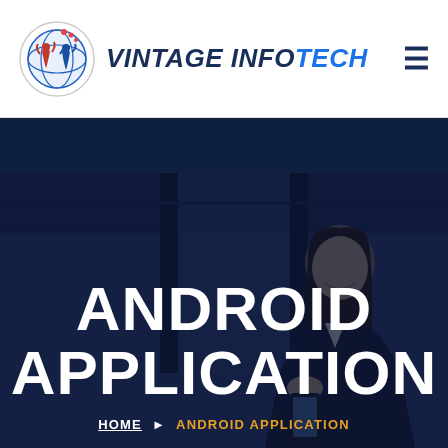[Figure (logo): Vintage InfoTech logo with circular icon showing stylized people and globe, company name in navy/blue italic bold text]
ANDROID APPLICATION
HOME  ANDROID APPLICATION